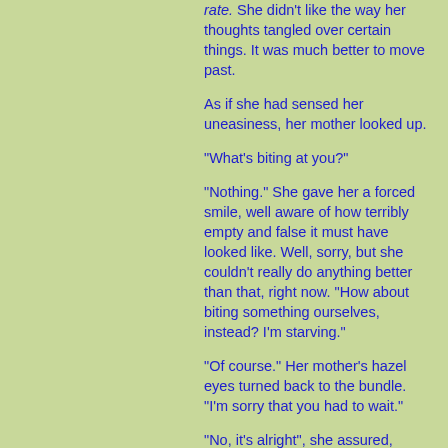rate. She didn't like the way her thoughts tangled over certain things. It was much better to move past.
As if she had sensed her uneasiness, her mother looked up.
"What's biting at you?"
"Nothing." She gave her a forced smile, well aware of how terribly empty and false it must have looked like. Well, sorry, but she couldn't really do anything better than that, right now. "How about biting something ourselves, instead? I'm starving."
"Of course." Her mother's hazel eyes turned back to the bundle. "I'm sorry that you had to wait."
"No, it's alright", she assured, waving off her concerns nonchalantly. "I've watched after